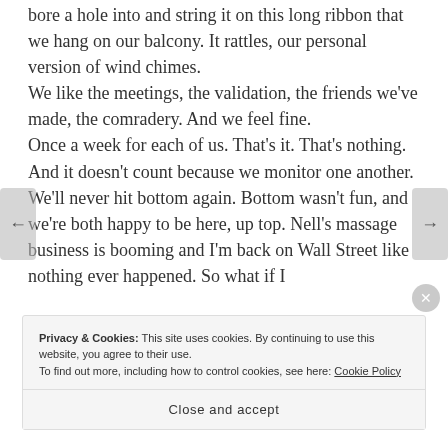bore a hole into and string it on this long ribbon that we hang on our balcony. It rattles, our personal version of wind chimes.
We like the meetings, the validation, the friends we've made, the comradery. And we feel fine.
Once a week for each of us. That's it. That's nothing. And it doesn't count because we monitor one another. We'll never hit bottom again. Bottom wasn't fun, and we're both happy to be here, up top. Nell's massage business is booming and I'm back on Wall Street like nothing ever happened. So what if I
Privacy & Cookies: This site uses cookies. By continuing to use this website, you agree to their use.
To find out more, including how to control cookies, see here: Cookie Policy
Close and accept